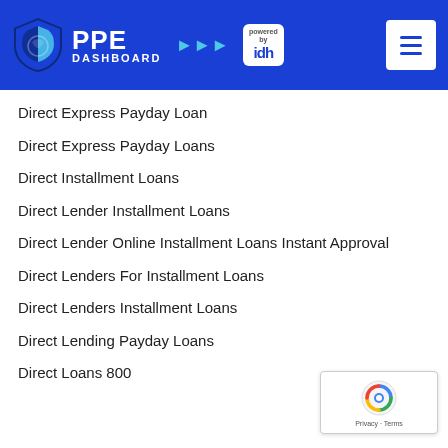[Figure (logo): PPE Dashboard logo powered by IDH with blue shield icon and hamburger menu on blue header background]
Direct Express Payday Loan
Direct Express Payday Loans
Direct Installment Loans
Direct Lender Installment Loans
Direct Lender Online Installment Loans Instant Approval
Direct Lenders For Installment Loans
Direct Lenders Installment Loans
Direct Lending Payday Loans
Direct Loans 800